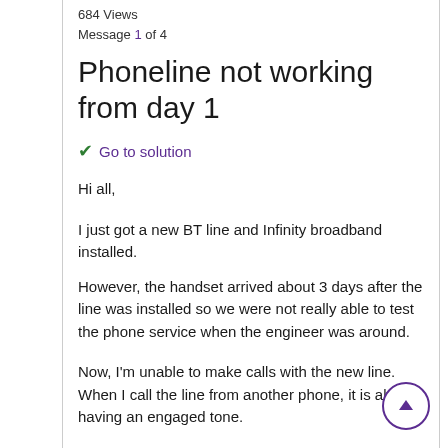684 Views
Message 1 of 4
Phoneline not working from day 1
✔ Go to solution
Hi all,
I just got a new BT line and Infinity broadband installed.
However, the handset arrived about 3 days after the line was installed so we were not really able to test the phone service when the engineer was around.
Now, I'm unable to make calls with the new line. When I call the line from another phone, it is always having an engaged tone.